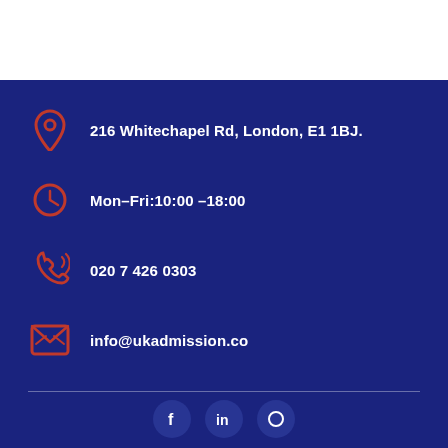216 Whitechapel Rd, London, E1 1BJ.
Mon–Fri:10:00 –18:00
020 7 426 0303
info@ukadmission.co